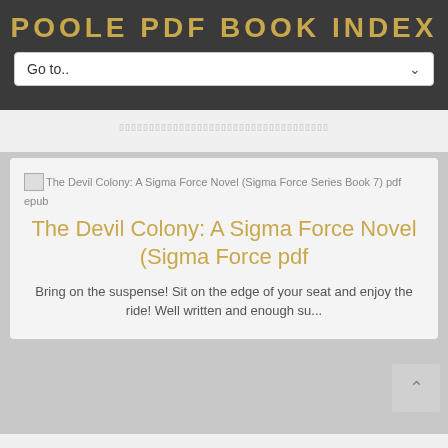POOLE PDF BOOK INDEX
Go to..
The Devil Colony: A Sigma Force Novel (Sigma Force Series Book 7) pdf epub
The Devil Colony: A Sigma Force Novel (Sigma Force pdf
Bring on the suspense! Sit on the edge of your seat and enjoy the ride! Well written and enough su...